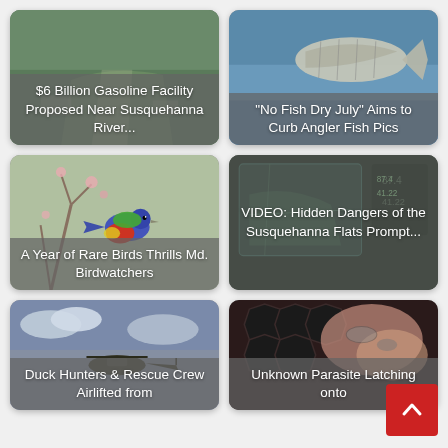[Figure (photo): News card: $6 Billion Gasoline Facility Proposed Near Susquehanna River... — aerial/landscape photo background]
[Figure (photo): News card: 'No Fish Dry July' Aims to Curb Angler Fish Pics — fish/water photo background]
[Figure (photo): News card: A Year of Rare Birds Thrills Md. Birdwatchers — colorful bird (painted bunting) perched on branch]
[Figure (photo): News card: VIDEO: Hidden Dangers of the Susquehanna Flats Prompt... — dark map/navigation device photo]
[Figure (photo): News card: Duck Hunters & Rescue Crew Airlifted from — helicopter/sky photo]
[Figure (photo): News card: Unknown Parasite Latching onto — close-up parasite/fish tissue photo]